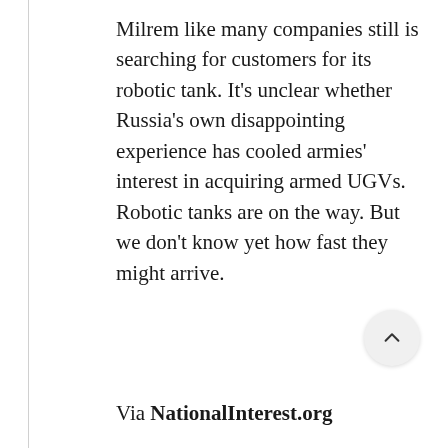Milrem like many companies still is searching for customers for its robotic tank. It's unclear whether Russia's own disappointing experience has cooled armies' interest in acquiring armed UGVs. Robotic tanks are on the way. But we don't know yet how fast they might arrive.
Via NationalInterest.org